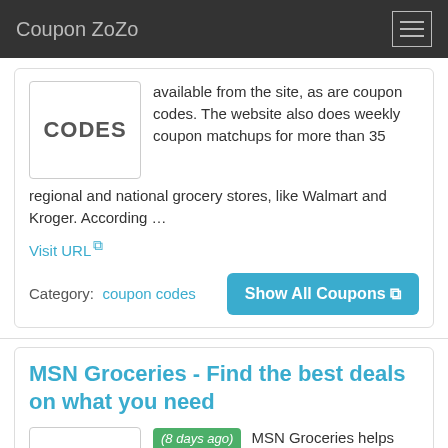Coupon ZoZo
available from the site, as are coupon codes. The website also does weekly coupon matchups for more than 35 regional and national grocery stores, like Walmart and Kroger. According …
Visit URL
Category: coupon codes
Show All Coupons
MSN Groceries - Find the best deals on what you need
(8 days ago) MSN Groceries helps you find the best deals for everyday goods. Shop digital or printable coupons to redeem savings at your favorite local grocery stores.